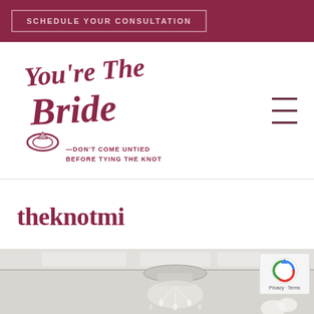SCHEDULE YOUR CONSULTATION
[Figure (logo): You're The Bride logo with cursive script text and ring illustration. Tagline: DON'T COME UNTIED BEFORE TYING THE KNOT!]
theknotmi
[Figure (photo): Interior photo of an elegant ballroom or event venue with crystal chandelier and decorative ceiling]